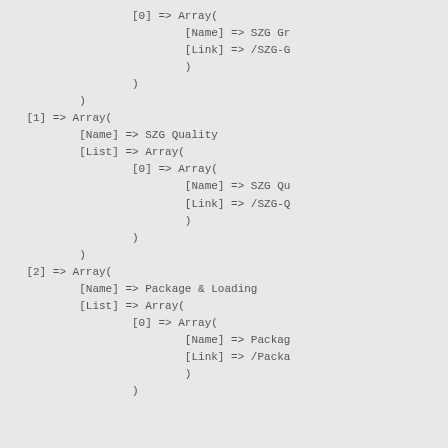Array dump showing nested PHP array structure with indices [0], [1], [2] containing Name, Link, and List keys for SZG Gr..., SZG Quality, and Package & Loading entries.